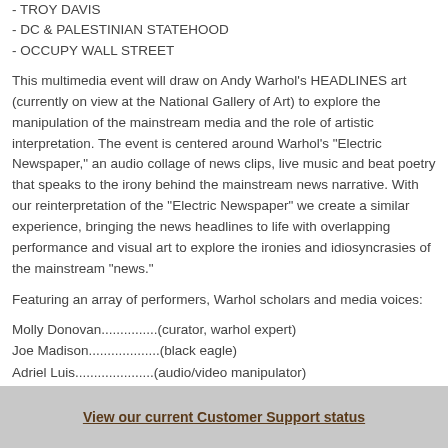- TROY DAVIS
- DC & PALESTINIAN STATEHOOD
- OCCUPY WALL STREET
This multimedia event will draw on Andy Warhol's HEADLINES art (currently on view at the National Gallery of Art) to explore the manipulation of the mainstream media and the role of artistic interpretation. The event is centered around Warhol's "Electric Newspaper," an audio collage of news clips, live music and beat poetry that speaks to the irony behind the mainstream news narrative. With our reinterpretation of the "Electric Newspaper" we create a similar experience, bringing the news headlines to life with overlapping performance and visual art to explore the ironies and idiosyncrasies of the mainstream "news."
Featuring an array of performers, Warhol scholars and media voices:
Molly Donovan...............(curator, warhol expert)
Joe Madison...................(black eagle)
Adriiel Luis.....................(audio/video manipulator)
Christylez Bacon...........(progressive hip-hop artist)
Gowri K...........................(spoken word artist)
Elahe Izadi......................(journalist, comedian)
Head Roc........................(hip-hop artist)
Regie Cabio....................(spoken word artist)
Henry Thaggert..............(art collector, warhol aficianado)
View our current Customer Support status